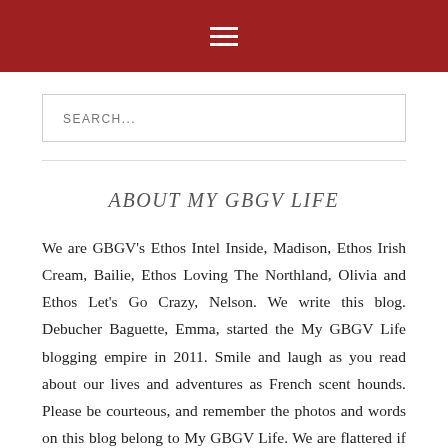≡
SEARCH...
ABOUT MY GBGV LIFE
We are GBGV's Ethos Intel Inside, Madison, Ethos Irish Cream, Bailie, Ethos Loving The Northland, Olivia and Ethos Let's Go Crazy, Nelson. We write this blog. Debucher Baguette, Emma, started the My GBGV Life blogging empire in 2011. Smile and laugh as you read about our lives and adventures as French scent hounds. Please be courteous, and remember the photos and words on this blog belong to My GBGV Life. We are flattered if you wish to use them, but you must ask for written permission first, or simply share